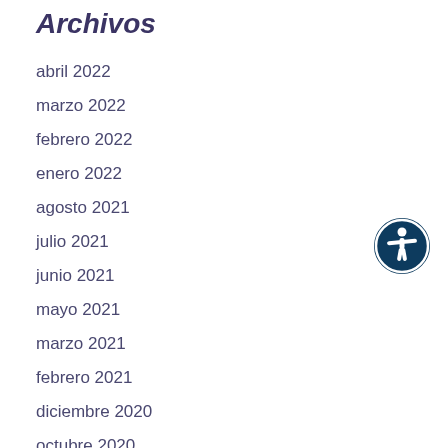Archivos
abril 2022
marzo 2022
febrero 2022
enero 2022
agosto 2021
julio 2021
junio 2021
mayo 2021
marzo 2021
febrero 2021
diciembre 2020
octubre 2020
[Figure (illustration): Accessibility icon: dark navy blue circle with white human figure silhouette with arms and legs outstretched]